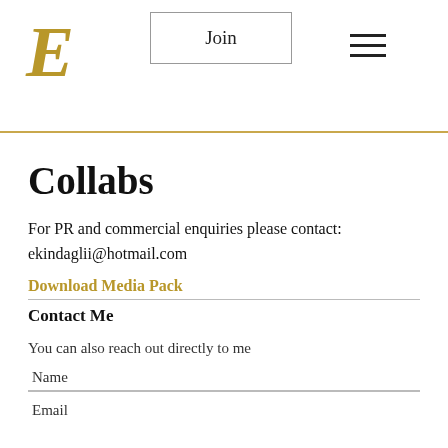E | Join | ☰
Collabs
For PR and commercial enquiries please contact:
ekindaglii@hotmail.com
Download Media Pack
Contact Me
You can also reach out directly to me
Name
Email